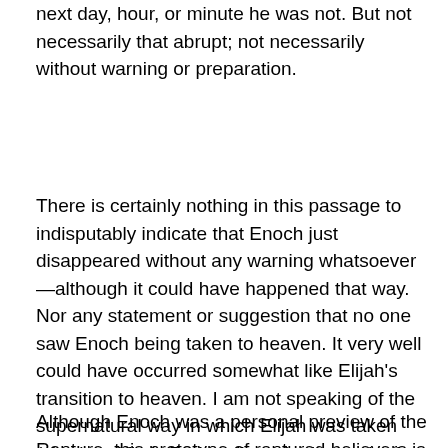next day, hour, or minute he was not. But not necessarily that abrupt; not necessarily without warning or preparation.
There is certainly nothing in this passage to indisputably indicate that Enoch just disappeared without any warning whatsoever—although it could have happened that way. Nor any statement or suggestion that no one saw Enoch being taken to heaven. It very well could have occurred somewhat like Elijah's transition to heaven. I am not speaking of the supernatural way in which Elijah was taken (chariot of fire). Rather, I'm referring to the fact that Elijah's protégé Elisha (and other prophets) were told ahead of time and even saw him being taken away.
Although Enoch was a personal preview of the Rapture, this prototype of raptured believers is in principle only. He